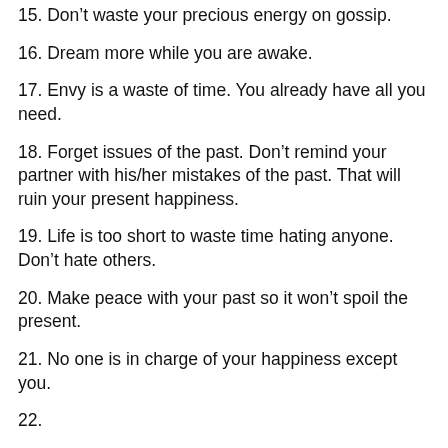15. Don't waste your precious energy on gossip.
16. Dream more while you are awake.
17. Envy is a waste of time. You already have all you need.
18. Forget issues of the past. Don't remind your partner with his/her mistakes of the past. That will ruin your present happiness.
19. Life is too short to waste time hating anyone. Don't hate others.
20. Make peace with your past so it won't spoil the present.
21. No one is in charge of your happiness except you.
22. (partially visible)